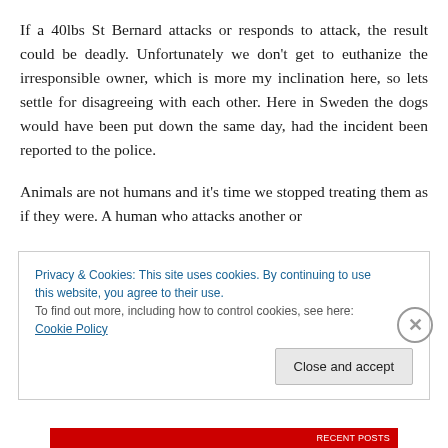If a 40lbs St Bernard attacks or responds to attack, the result could be deadly. Unfortunately we don't get to euthanize the irresponsible owner, which is more my inclination here, so lets settle for disagreeing with each other. Here in Sweden the dogs would have been put down the same day, had the incident been reported to the police.
Animals are not humans and it's time we stopped treating them as if they were. A human who attacks another or
Privacy & Cookies: This site uses cookies. By continuing to use this website, you agree to their use.
To find out more, including how to control cookies, see here: Cookie Policy